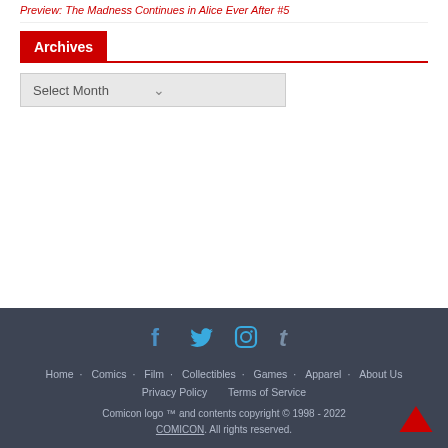Preview: The Madness Continues in Alice Ever After #5
Archives
Select Month
Home · Comics · Film · Collectibles · Games · Apparel · About Us · Privacy Policy · Terms of Service
Comicon logo ™ and contents copyright © 1998 - 2022 COMICON. All rights reserved.